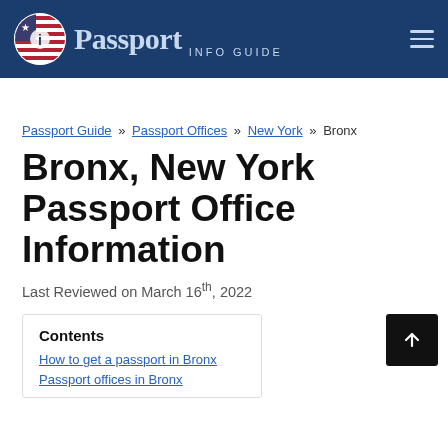Passport INFO GUIDE
Passport Guide » Passport Offices » New York » Bronx
Bronx, New York Passport Office Information
Last Reviewed on March 16th, 2022
Contents
How to get a passport in Bronx
Passport offices in Bronx